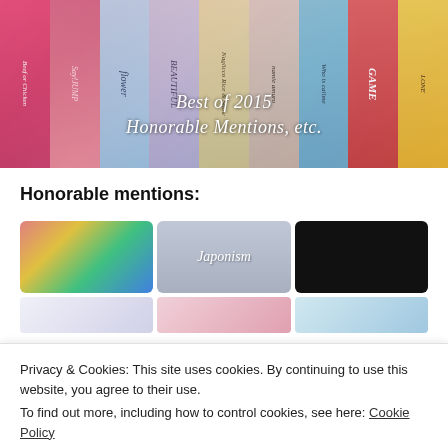[Figure (photo): Hero image showing a row of colorful music CD/album spines arranged diagonally, with overlay text 'Best of 2015 Honorable Mentions, etc.']
Honorable mentions:
[Figure (photo): Row of three thumbnail images: colorful artwork, Japonism album cover with pastel stripes, dark background with female artist]
Privacy & Cookies: This site uses cookies. By continuing to use this website, you agree to their use.
To find out more, including how to control cookies, see here: Cookie Policy
Close and accept
[Figure (photo): Row of three thumbnail images at bottom of page]